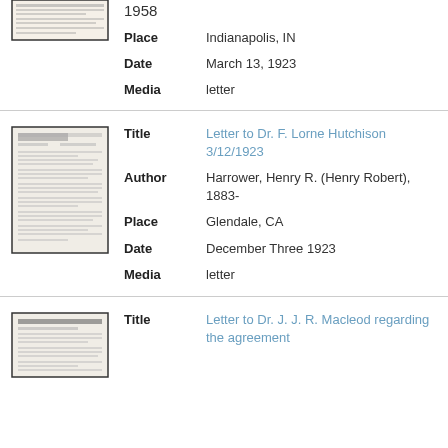[Figure (photo): Thumbnail of a document/letter, small beige card with text]
1958
Place: Indianapolis, IN
Date: March 13, 1923
Media: letter
[Figure (photo): Thumbnail of a typewritten letter document]
Title: Letter to Dr. F. Lorne Hutchison 3/12/1923
Author: Harrower, Henry R. (Henry Robert), 1883-
Place: Glendale, CA
Date: December Three 1923
Media: letter
[Figure (photo): Thumbnail of a letter with ELI LILLY AND COMPANY header]
Title: Letter to Dr. J. J. R. Macleod regarding the agreement